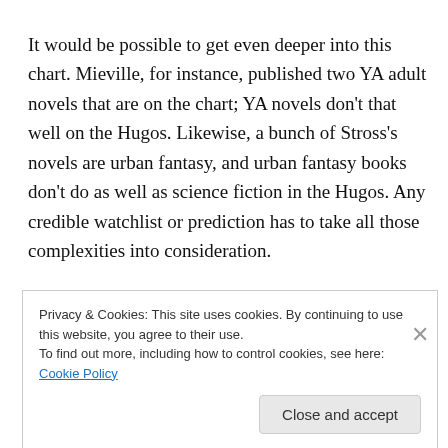It would be possible to get even deeper into this chart. Mieville, for instance, published two YA adult novels that are on the chart; YA novels don't that well on the Hugos. Likewise, a bunch of Stross's novels are urban fantasy, and urban fantasy books don't do as well as science fiction in the Hugos. Any credible watchlist or prediction has to take all those complexities into consideration.
Privacy & Cookies: This site uses cookies. By continuing to use this website, you agree to their use. To find out more, including how to control cookies, see here: Cookie Policy